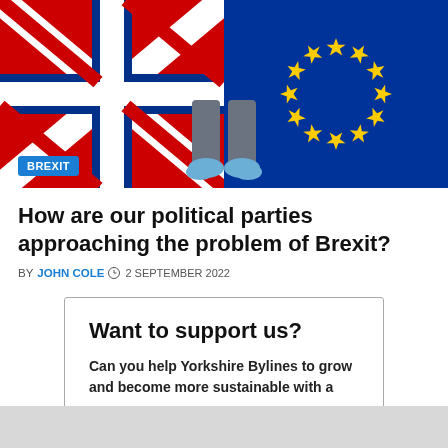[Figure (photo): Person standing straddling the UK Union Jack flag on the left and the EU flag with yellow stars on blue on the right, viewed from above looking down at their feet in blue shoes.]
BREXIT
How are our political parties approaching the problem of Brexit?
BY JOHN COLE  2 SEPTEMBER 2022
Want to support us?
Can you help Yorkshire Bylines to grow and become more sustainable with a